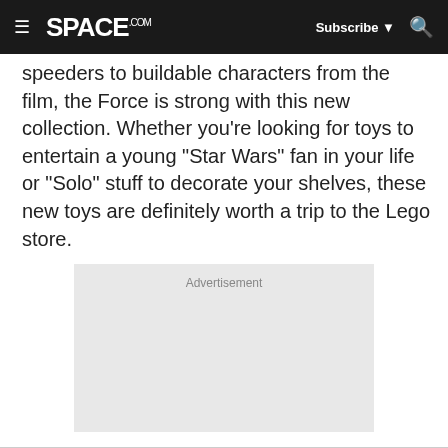≡ SPACE.com  Subscribe ▼  🔍
speeders to buildable characters from the film, the Force is strong with this new collection. Whether you're looking for toys to entertain a young "Star Wars" fan in your life or "Solo" stuff to decorate your shelves, these new toys are definitely worth a trip to the Lego store.
[Figure (other): Advertisement placeholder box]